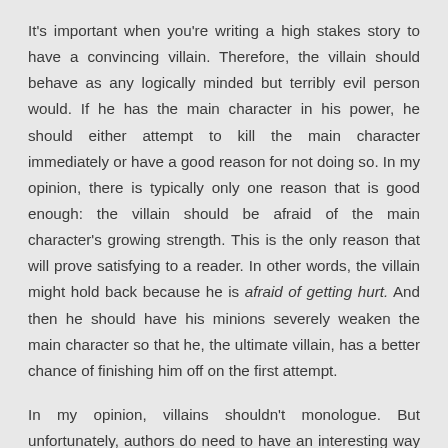It's important when you're writing a high stakes story to have a convincing villain. Therefore, the villain should behave as any logically minded but terribly evil person would. If he has the main character in his power, he should either attempt to kill the main character immediately or have a good reason for not doing so. In my opinion, there is typically only one reason that is good enough: the villain should be afraid of the main character's growing strength. This is the only reason that will prove satisfying to a reader. In other words, the villain might hold back because he is afraid of getting hurt. And then he should have his minions severely weaken the main character so that he, the ultimate villain, has a better chance of finishing him off on the first attempt.
In my opinion, villains shouldn't monologue. But unfortunately, authors do need to have an interesting way of doing their exposition. Sometimes having the villain chat for a couple of paragraphs is a good way to reveal his plans and raise the stakes. But this should never happen in the presence of the hero, unless